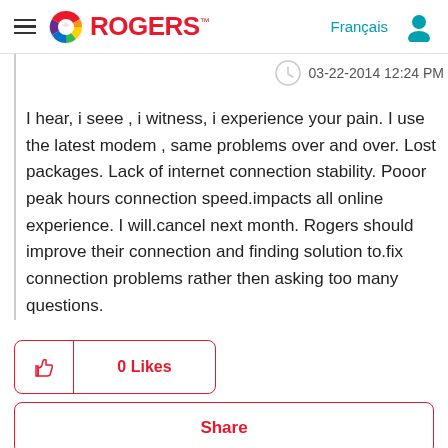[Figure (logo): Rogers Communications logo with hamburger menu, colorful circle icon, red ROGERS text, Français link in teal, and user profile icon]
03-22-2014 12:24 PM
I hear, i seee , i witness, i experience your pain. I use the latest modem , same problems over and over. Lost packages. Lack of internet connection stability. Pooor peak hours connection speed.impacts all online experience. I will.cancel next month. Rogers should improve their connection and finding solution to.fix connection problems rather then asking too many questions.
0 Likes
Share